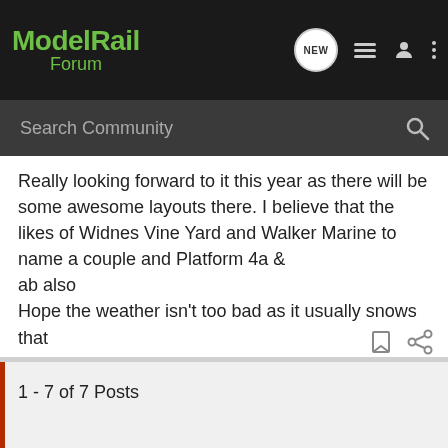ModelRail Forum
Search Community
Really looking forward to it this year as there will be some awesome layouts there. I believe that the likes of Widnes Vine Yard and Walker Marine to name a couple and Platform 4a &

ab also

Hope the weather isn't too bad as it usually snows that

weekend. Regular visitors will know what I mean
1 - 7 of 7 Posts